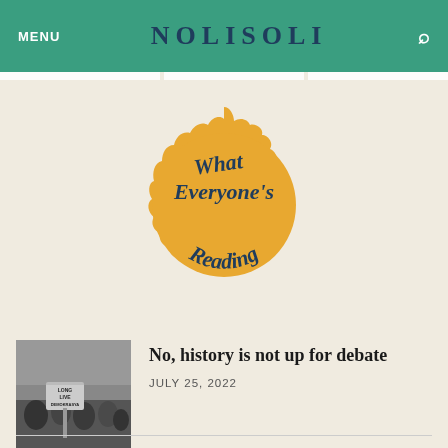MENU  NOLISOLI  🔍
[Figure (illustration): Gold scalloped/starburst badge with dark navy text reading 'What Everyone's Reading' arranged in a circular decorative seal style on a cream background.]
[Figure (photo): Black and white photograph of a protest scene with people holding signs, one visible sign reads 'LONG LIVE DEMOKRASYA']
No, history is not up for debate
JULY 25, 2022